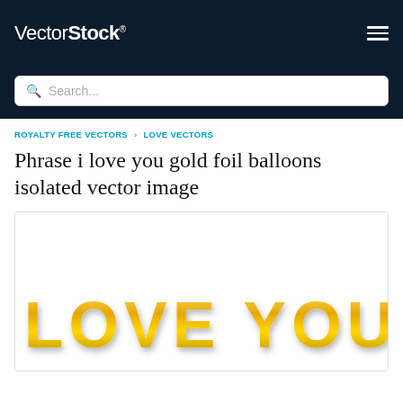VectorStock®
Search...
ROYALTY FREE VECTORS › LOVE VECTORS
Phrase i love you gold foil balloons isolated vector image
[Figure (illustration): Gold foil balloon letters spelling 'I LOVE YOU!' on a white background, with shiny metallic gold coloring and drop shadows.]